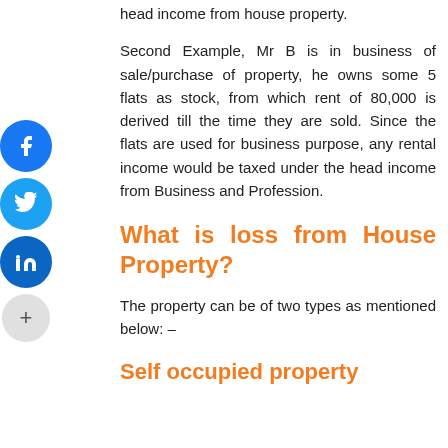head income from house property.
Second Example, Mr B is in business of sale/purchase of property, he owns some 5 flats as stock, from which rent of 80,000 is derived till the time they are sold. Since the flats are used for business purpose, any rental income would be taxed under the head income from Business and Profession.
What is loss from House Property?
The property can be of two types as mentioned below: –
Self occupied property